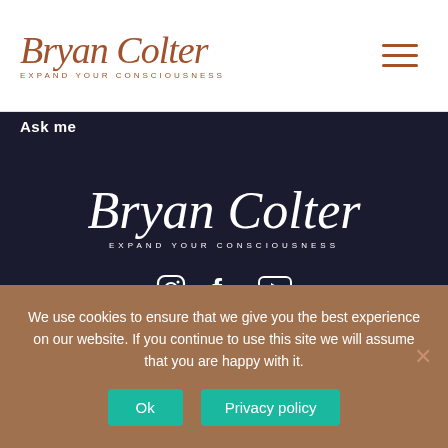[Figure (logo): Bryan Colter script logo with tagline EXPAND YOUR CONSCIOUSNESS in brown/copper color on white background]
[Figure (illustration): Hamburger menu icon (three horizontal brown lines) in top right corner]
Ask me
[Figure (logo): Bryan Colter script logo with tagline EXPAND YOUR CONSCIOUSNESS in white on dark navy background]
[Figure (illustration): Social media icons: Instagram, Facebook, YouTube in white on dark navy background]
© 2022 Bryancolter.com
We use cookies to ensure that we give you the best experience on our website. If you continue to use this site we will assume that you are happy with it.
Ok
Privacy policy